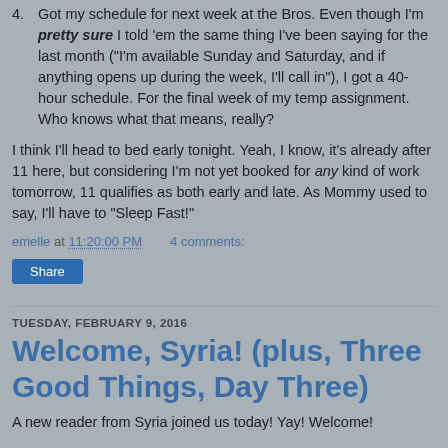4. Got my schedule for next week at the Bros. Even though I'm pretty sure I told 'em the same thing I've been saying for the last month ("I'm available Sunday and Saturday, and if anything opens up during the week, I'll call in"), I got a 40-hour schedule. For the final week of my temp assignment. Who knows what that means, really?
I think I'll head to bed early tonight. Yeah, I know, it's already after 11 here, but considering I'm not yet booked for any kind of work tomorrow, 11 qualifies as both early and late. As Mommy used to say, I'll have to "Sleep Fast!"
emelle at 11:20:00 PM    4 comments:
Share
TUESDAY, FEBRUARY 9, 2016
Welcome, Syria! (plus, Three Good Things, Day Three)
A new reader from Syria joined us today! Yay! Welcome!